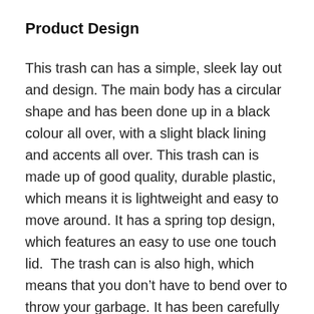Product Design
This trash can has a simple, sleek lay out and design. The main body has a circular shape and has been done up in a black colour all over, with a slight black lining and accents all over. This trash can is made up of good quality, durable plastic, which means it is lightweight and easy to move around. It has a spring top design, which features an easy to use one touch lid.  The trash can is also high, which means that you don’t have to bend over to throw your garbage. It has been carefully made to have a space saving profile so that it does not take up any